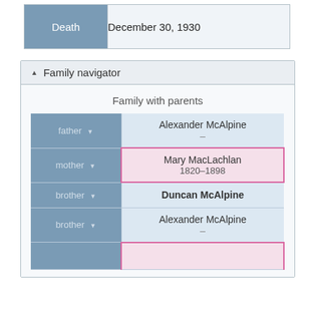| Death | December 30, 1930 |
| --- | --- |
▲ Family navigator
Family with parents
| Role | Person |
| --- | --- |
| father ▾ | Alexander McAlpine
– |
| mother ▾ | Mary MacLachlan
1820–1898 |
| brother ▾ | Duncan McAlpine |
| brother ▾ | Alexander McAlpine
– |
| (partial row) | (pink partial) |